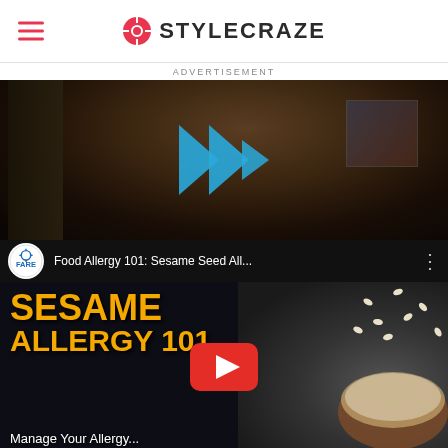STYLECRAZE
ADVERTISEMENT
[Figure (screenshot): Video thumbnail showing a woman in a dark room with a blue double-play arrow icon (fast-forward style) overlaid in the center, suggesting an embedded video player]
[Figure (screenshot): YouTube video embed for 'Food Allergy 101: Sesame Seed All...' by FARE. Thumbnail shows bold yellow text 'SESAME ALLERGY 101' on a dark background with sesame seeds and a bowl on the right, with 'Manage Your Allergy' text at the bottom. A red YouTube play button is centered on the thumbnail.]
ADVERTISEMENT